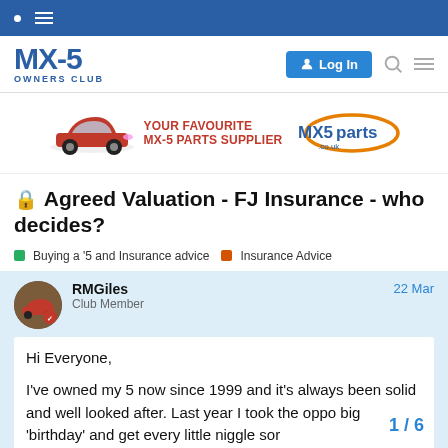MX-5 OWNERS CLUB
[Figure (other): MX5parts.co.uk advertisement banner showing a red MX-5 car and the text YOUR FAVOURITE MX-5 PARTS SUPPLIER with the MX5parts.co.uk logo]
🔒 Agreed Valuation - FJ Insurance - who decides?
Buying a '5 and Insurance advice  Insurance Advice
RMGiles
Club Member
22 Mar
Hi Everyone,

I've owned my 5 now since 1999 and it's always been solid and well looked after. Last year I took the oppo big 'birthday' and get every little niggle sor
1 / 6